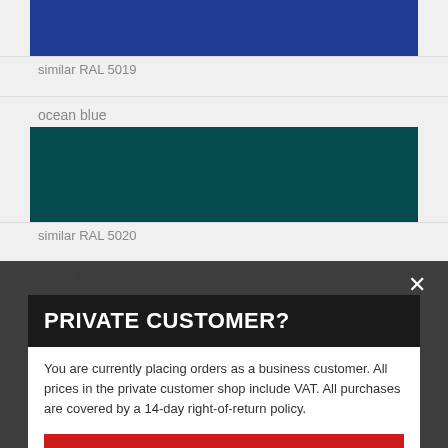[Figure (screenshot): Blue color swatch (cobalt blue) with label 'similar RAL 5019']
similar RAL 5019
ocean blue
[Figure (screenshot): Dark teal/ocean color swatch]
similar RAL 5020
water blue
PRIVATE CUSTOMER?
You are currently placing orders as a business customer. All prices in the private customer shop include VAT. All purchases are covered by a 14-day right-of-return policy.
PLACE ORDERS AS A PRIVATE CUSTOMER